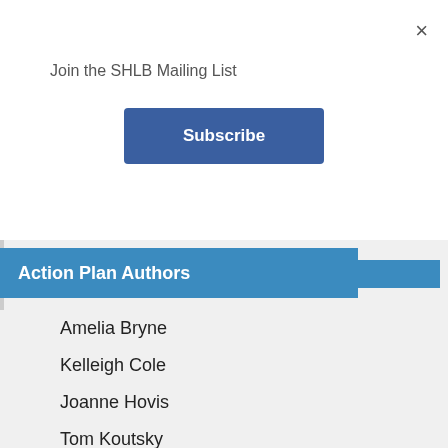×
Join the SHLB Mailing List
Subscribe
Action Plan Authors
Amelia Bryne
Kelleigh Cole
Joanne Hovis
Tom Koutsky
Blair Levin
Christine Mullins
Angela Siefer